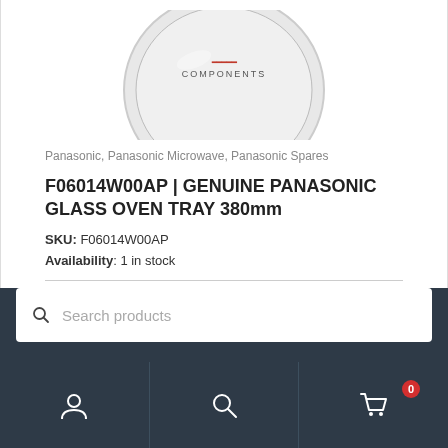[Figure (photo): Partial product photo of a circular glass oven tray with a brand logo (Panasonic-related components) visible on it, cropped at top]
Panasonic, Panasonic Microwave, Panasonic Spares
F06014W00AP | GENUINE PANASONIC GLASS OVEN TRAY 380mm
SKU: F06014W00AP
Availability: 1 in stock
| Quantity | Price Per Unit |
| --- | --- |
| 1+ | 52.90 Excl GST |
[Figure (screenshot): Bottom navigation bar with search box showing 'Search products' placeholder, and three nav icons: user/account, search, and cart with badge showing 0]